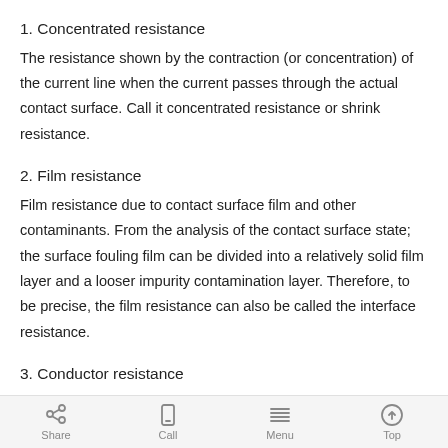1. Concentrated resistance
The resistance shown by the contraction (or concentration) of the current line when the current passes through the actual contact surface. Call it concentrated resistance or shrink resistance.
2. Film resistance
Film resistance due to contact surface film and other contaminants. From the analysis of the contact surface state; the surface fouling film can be divided into a relatively solid film layer and a looser impurity contamination layer. Therefore, to be precise, the film resistance can also be called the interface resistance.
3. Conductor resistance
Share   Call   Menu   Top